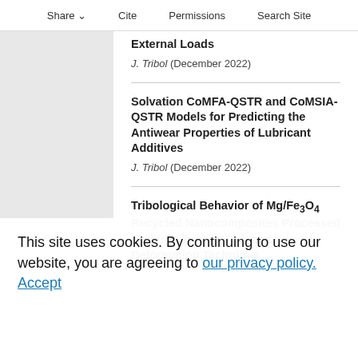Share  Cite  Permissions  Search Site
External Loads
J. Tribol (December 2022)
Solvation CoMFA-QSTR and CoMSIA-QSTR Models for Predicting the Antiwear Properties of Lubricant Additives
J. Tribol (December 2022)
Tribological Behavior of Mg/Fe3O4 Recycled Nanocomposites Processed Through Turning Induced Deformation Technique
Study on antifriction mechanism of surface textured elliptical bearings
This site uses cookies. By continuing to use our website, you are agreeing to our privacy policy. Accept